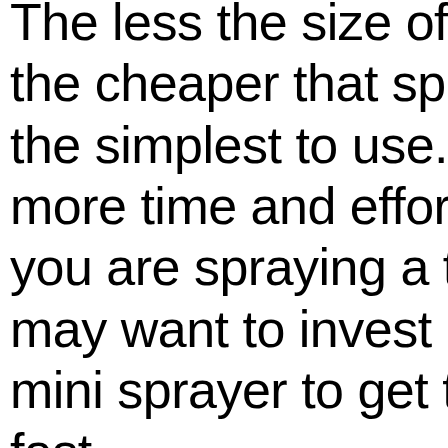The less the size of the cheaper that spr the simplest to use. more time and effor you are spraying a t may want to invest i mini sprayer to get t fast.